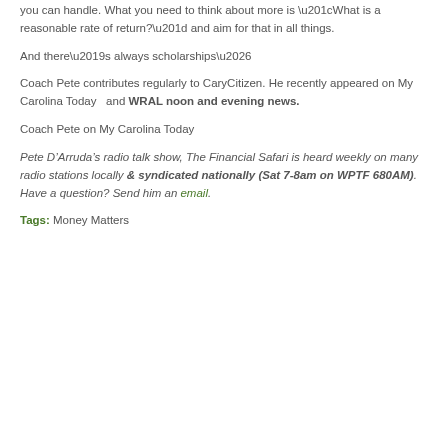you can handle. What you need to think about more is “What is a reasonable rate of return?” and aim for that in all things.
And there’s always scholarships…
Coach Pete contributes regularly to CaryCitizen. He recently appeared on My Carolina Today  and WRAL noon and evening news.
Coach Pete on My Carolina Today
Pete D’Arruda’s radio talk show, The Financial Safari is heard weekly on many radio stations locally & syndicated nationally (Sat 7-8am on WPTF 680AM). Have a question? Send him an email.
Tags: Money Matters